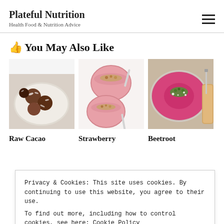Plateful Nutrition
Health Food & Nutrition Advice
👍You May Also Like
[Figure (photo): Overhead view of raw cacao energy balls on a white plate with coconut flakes]
[Figure (photo): Two bowls of strawberry smoothie topped with granola, spoons resting in bowls]
[Figure (photo): Overhead view of beetroot hummus in a pan, topped with green herbs and white crumbles, with bread nearby]
Raw Cacao
Strawberry
Beetroot
Privacy & Cookies: This site uses cookies. By continuing to use this website, you agree to their use.
To find out more, including how to control cookies, see here: Cookie Policy
Close and accept